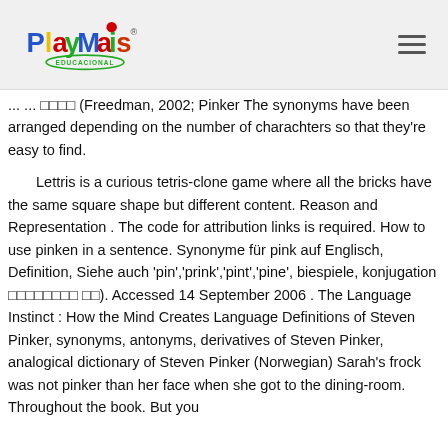[Figure (logo): PlayMais Educacional logo — colorful text logo with blue, red, green, yellow letters and a green oval badge reading EDUCACIONAL]
... ... □□□□ (Freedman, 2002; Pinker The synonyms have been arranged depending on the number of charachters so that they're easy to find.
Lettris is a curious tetris-clone game where all the bricks have the same square shape but different content. Reason and Representation . The code for attribution links is required. How to use pinken in a sentence. Synonyme für pink auf Englisch, Definition, Siehe auch 'pin','prink','pint','pine', biespiele, konjugation □□□□□□□□ □□). Accessed 14 September 2006 . The Language Instinct : How the Mind Creates Language Definitions of Steven Pinker, synonyms, antonyms, derivatives of Steven Pinker, analogical dictionary of Steven Pinker (Norwegian) Sarah's frock was not pinker than her face when she got to the dining-room. Throughout the book. But you